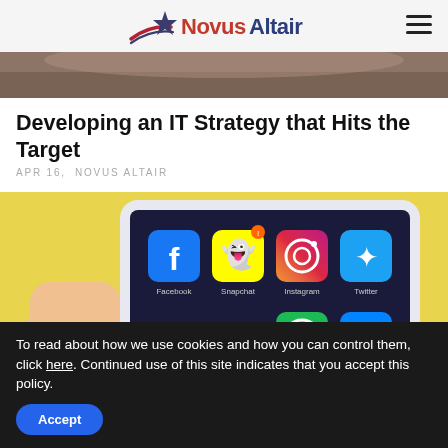NovusAltair
[Figure (photo): Top portion of a person's head/hair, cropped photo at top of article]
Developing an IT Strategy that Hits the Target
APR 16,  NOVUS ALTAIR
[Figure (photo): Hand holding a smartphone displaying social media app icons: Facebook, Snapchat, Instagram, Twitter, Spotify, Messenger, and others on a yellow background]
To read about how we use cookies and how you can control them, click here. Continued use of this site indicates that you accept this policy.
Accept